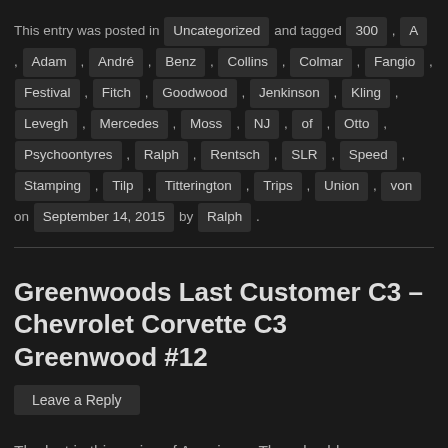This entry was posted in Uncategorized and tagged 300 , A , Adam , André , Benz , Collins , Colmar , Fangio , Festival , Fitch , Goodwood , Jenkinson , Kling , Levegh , Mercedes , Moss , NJ , of , Otto , Psychoontyres , Ralph , Rentsch , SLR , Speed , Stamping , Tilp , Titterington , Trips , Union , von on September 14, 2015 by Ralph .
Greenwoods Last Customer C3 – Chevrolet Corvette C3 Greenwood #12
Leave a Reply
The last in this series of Americana Thursday blogs celebrating the 60th Anniversary of the Chevrolet Corvettes features the last of the 12 customer Corvette racer built by John Greenwood as seen in these photo's